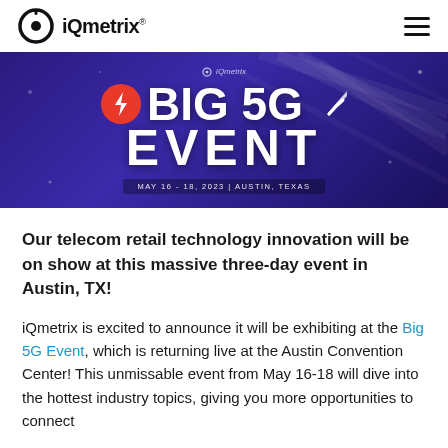iQmetrix® [logo] [hamburger menu]
[Figure (illustration): Dark purple/indigo banner with iQmetrix logo at top center, large bold white text 'BIG 5G EVENT' with a red lightning bolt circle badge, and text 'MAY 16 - 18, 2023 | AUSTIN, TEXAS' below. Decorative light-ray lines in background.]
Our telecom retail technology innovation will be on show at this massive three-day event in Austin, TX!
iQmetrix is excited to announce it will be exhibiting at the Big 5G Event, which is returning live at the Austin Convention Center! This unmissable event from May 16-18 will dive into the hottest industry topics, giving you more opportunities to connect